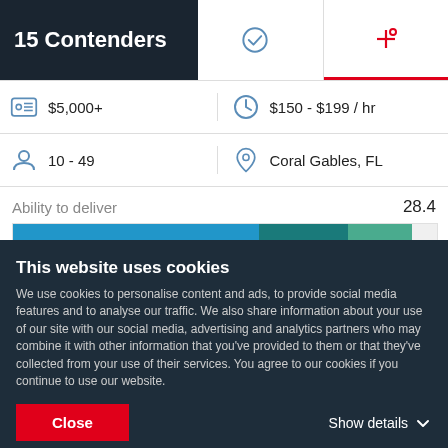15 Contenders
[Figure (stacked-bar-chart): Ability to deliver]
$5,000+
$150 - $199 / hr
10 - 49
Coral Gables, FL
Ability to deliver
28.4
Reviews
This website uses cookies
We use cookies to personalise content and ads, to provide social media features and to analyse our traffic. We also share information about your use of our site with our social media, advertising and analytics partners who may combine it with other information that you've provided to them or that they've collected from your use of their services. You agree to our cookies if you continue to use our website.
Close
Show details